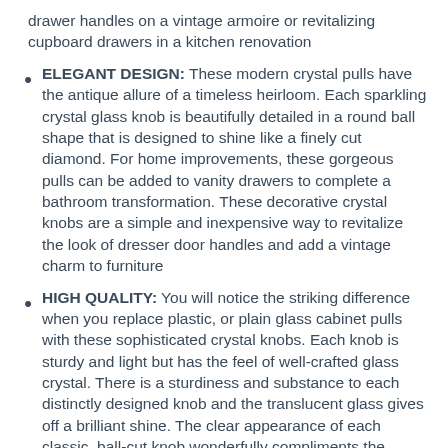drawer handles on a vintage armoire or revitalizing cupboard drawers in a kitchen renovation
ELEGANT DESIGN: These modern crystal pulls have the antique allure of a timeless heirloom. Each sparkling crystal glass knob is beautifully detailed in a round ball shape that is designed to shine like a finely cut diamond. For home improvements, these gorgeous pulls can be added to vanity drawers to complete a bathroom transformation. These decorative crystal knobs are a simple and inexpensive way to revitalize the look of dresser door handles and add a vintage charm to furniture
HIGH QUALITY: You will notice the striking difference when you replace plastic, or plain glass cabinet pulls with these sophisticated crystal knobs. Each knob is sturdy and light but has the feel of well-crafted glass crystal. There is a sturdiness and substance to each distinctly designed knob and the translucent glass gives off a brilliant shine. The clear appearance of each classic, ball-cut knob wonderfully compliments the appliances in the kitchen and blends in with the décor of any room
EASY TO INSTALL: You will enjoy how easy it is to replace ordinary dresser drawer knobs and cabinet